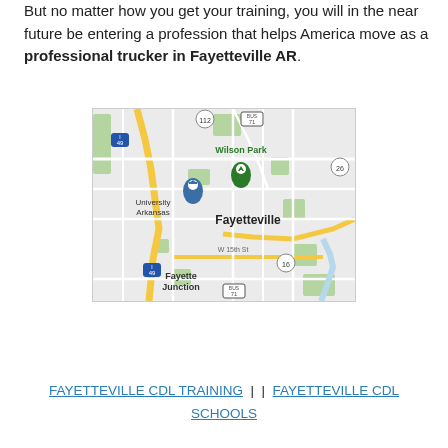But no matter how you get your training, you will in the near future be entering a profession that helps America move as a professional trucker in Fayetteville AR.
[Figure (map): Google Maps screenshot showing Fayetteville, AR area including Wilson Park, University of Arkansas, Fayette Junction, with highways 49, 112, 71, 16 labeled.]
FAYETTEVILLE CDL TRAINING | | FAYETTEVILLE CDL SCHOOLS